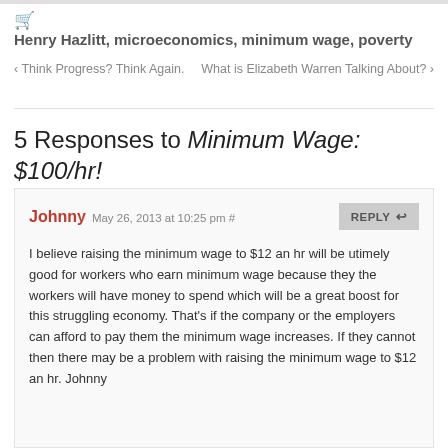Henry Hazlitt, microeconomics, minimum wage, poverty
< Think Progress? Think Again.   What is Elizabeth Warren Talking About? >
5 Responses to Minimum Wage: $100/hr!
Johnny May 26, 2013 at 10:25 pm #
I believe raising the minimum wage to $12 an hr will be utimely good for workers who earn minimum wage because they the workers will have money to spend which will be a great boost for this struggling economy. That's if the company or the employers can afford to pay them the minimum wage increases. If they cannot then there may be a problem with raising the minimum wage to $12 an hr. Johnny